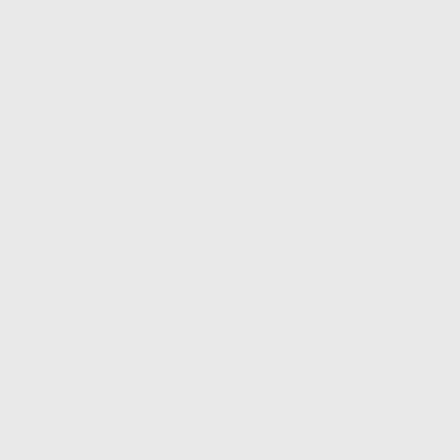concern for any distance.
And they weren't
They weren't fo
Their weapons
They were allo
Imagine what w
Hell, unarmed getting slaughter
I can't even en
But these fasci away with it, al deadly pandem
If you ever dou
Share this: